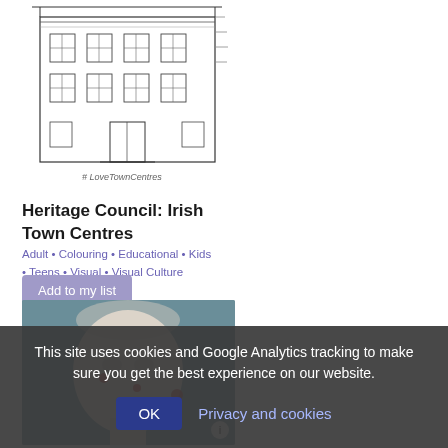[Figure (illustration): Line drawing / sketch of a multi-storey building facade with '#LoveTownCentres' handwritten caption at the bottom]
Heritage Council: Irish Town Centres
Adult • Colouring • Educational • Kids • Teens • Visual • Visual Culture
Add to my list
[Figure (photo): Photograph of a sculpted or painted head/bust against a teal/blue-grey background, with red accent marks]
This site uses cookies and Google Analytics tracking to make sure you get the best experience on our website.
OK  Privacy and cookies